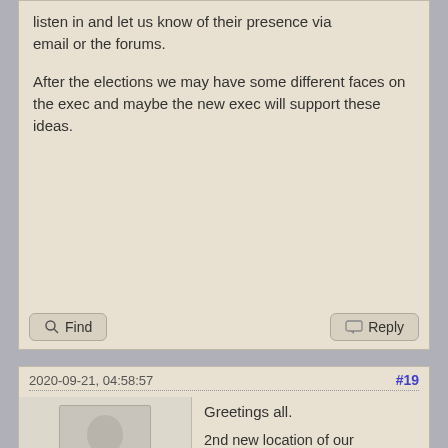listen in and let us know of their presence via email or the forums.
After the elections we may have some different faces on the exec and maybe the new exec will support these ideas.
2020-09-21, 04:58:57
#19
Greetings all.
VA3TVA Tom
Junior Member
Posts: 15
Threads: 5
2nd new location of our meeting.  Due to covid restrictions, I propose an out door meeting in the gravel parking lot on the north side of the Bay Shore.  Need directions, Google East Side Boat Launch.  I don't think that I have ever seen 20 at a meeting, let alone 25.  But, in the event that we have 25 or more show up, I'll only count every 2nd person.